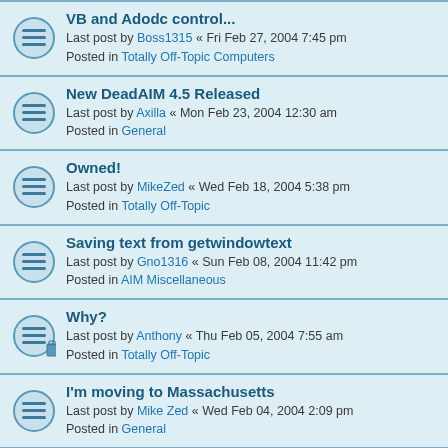VB and Adodc control... Last post by Boss1315 « Fri Feb 27, 2004 7:45 pm Posted in Totally Off-Topic Computers
New DeadAIM 4.5 Released Last post by Axilla « Mon Feb 23, 2004 12:30 am Posted in General
Owned! Last post by MikeZed « Wed Feb 18, 2004 5:38 pm Posted in Totally Off-Topic
Saving text from getwindowtext Last post by Gno1316 « Sun Feb 08, 2004 11:42 pm Posted in AIM Miscellaneous
Why? Last post by Anthony « Thu Feb 05, 2004 7:55 am Posted in Totally Off-Topic
I'm moving to Massachusetts Last post by Mike Zed « Wed Feb 04, 2004 2:09 pm Posted in General
"The source or destination file may be in use" Last post by AnonymousCoward « Fri Jan 30, 2004 12:09 pm Posted in hkSFV Bug Reports
2 Requests - option to deselect autostart verifying and... Last post by Jonathan Smith « Wed Jan 28, 2004 10:41 pm Posted in hkSFV Feature Requests
EASIER selection of "New SFV/MD5 file" within the...